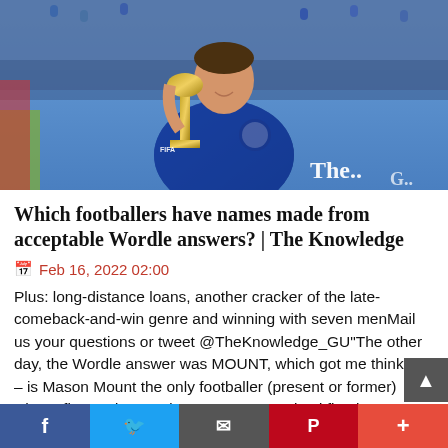[Figure (photo): Chelsea footballer Mason Mount holding a trophy aloft, smiling, wearing blue Chelsea kit with medal around neck, crowd in background, The Guardian logo visible bottom right]
Which footballers have names made from acceptable Wordle answers? | The Knowledge
Feb 16, 2022 02:00
Plus: long-distance loans, another cracker of the late-comeback-and-win genre and winning with seven menMail us your questions or tweet @TheKnowledge_GU"The other day, the Wordle answer was MOUNT, which got me thinking – is Mason Mount the only footballer (present or former) whose first and second name are recognised five-letter words in the dictionary and therefore legitimate potential answers in